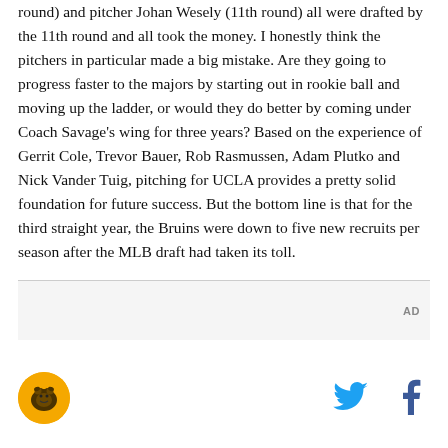round) and pitcher Johan Wesely (11th round) all were drafted by the 11th round and all took the money. I honestly think the pitchers in particular made a big mistake. Are they going to progress faster to the majors by starting out in rookie ball and moving up the ladder, or would they do better by coming under Coach Savage's wing for three years? Based on the experience of Gerrit Cole, Trevor Bauer, Rob Rasmussen, Adam Plutko and Nick Vander Tuig, pitching for UCLA provides a pretty solid foundation for future success. But the bottom line is that for the third straight year, the Bruins were down to five new recruits per season after the MLB draft had taken its toll.
[Figure (logo): SB Nation / Bruins Nation logo - golden circle with bear icon]